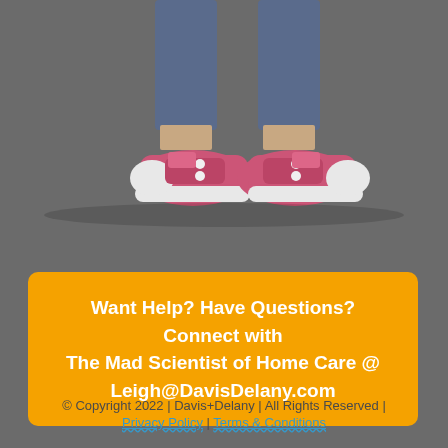[Figure (illustration): Bottom portion of a cartoon character's legs wearing jeans and pink/red sneakers with white soles, on a grey background]
Want Help? Have Questions? Connect with The Mad Scientist of Home Care @ Leigh@DavisDelany.com
© Copyright 2022 | Davis+Delany | All Rights Reserved | Privacy Policy | Terms & Conditions